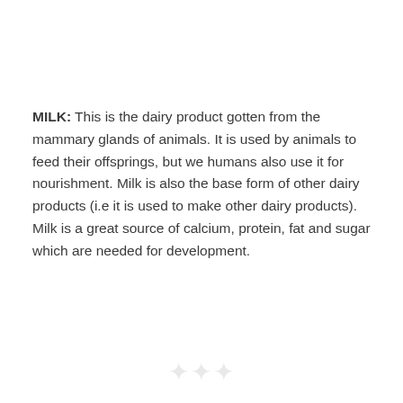MILK: This is the dairy product gotten from the mammary glands of animals. It is used by animals to feed their offsprings, but we humans also use it for nourishment. Milk is also the base form of other dairy products (i.e it is used to make other dairy products). Milk is a great source of calcium, protein, fat and sugar which are needed for development.